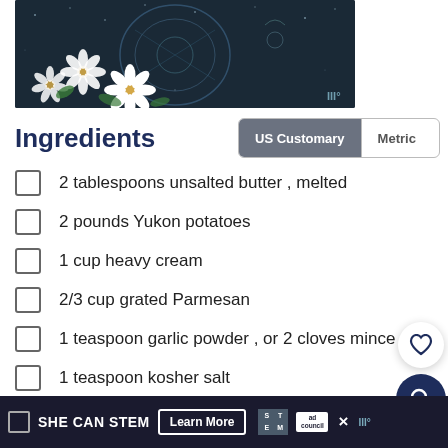[Figure (illustration): Dark navy decorative illustration with floral elements (white daisies, leaves) and ornate design elements on a dark background. A badge 'III°' appears in the lower right.]
Ingredients
US Customary | Metric (toggle buttons)
2 tablespoons unsalted butter , melted
2 pounds Yukon potatoes
1 cup heavy cream
2/3 cup grated Parmesan
1 teaspoon garlic powder , or 2 cloves mince
1 teaspoon kosher salt
1/2 teaspoon coarse ground black pepper
SHE CAN STEM  Learn More  [STEM logo] [ad council] × III°